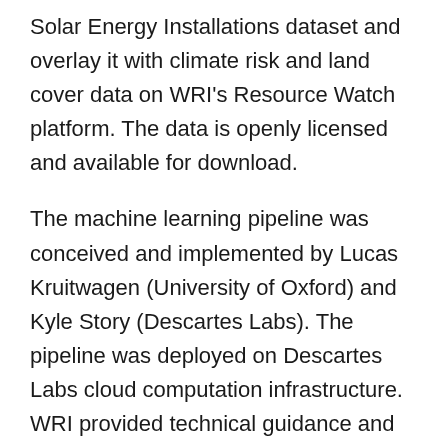Solar Energy Installations dataset and overlay it with climate risk and land cover data on WRI's Resource Watch platform. The data is openly licensed and available for download.
The machine learning pipeline was conceived and implemented by Lucas Kruitwagen (University of Oxford) and Kyle Story (Descartes Labs). The pipeline was deployed on Descartes Labs cloud computation infrastructure. WRI provided technical guidance and cross-validation data.
Summary
The number of solar energy installations across the